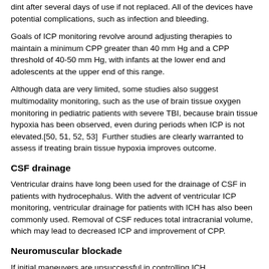dint after several days of use if not replaced. All of the devices have potential complications, such as infection and bleeding.
Goals of ICP monitoring revolve around adjusting therapies to maintain a minimum CPP greater than 40 mm Hg and a CPP threshold of 40-50 mm Hg, with infants at the lower end and adolescents at the upper end of this range.
Although data are very limited, some studies also suggest multimodality monitoring, such as the use of brain tissue oxygen monitoring in pediatric patients with severe TBI, because brain tissue hypoxia has been observed, even during periods when ICP is not elevated.[50, 51, 52, 53]  Further studies are clearly warranted to assess if treating brain tissue hypoxia improves outcome.
CSF drainage
Ventricular drains have long been used for the drainage of CSF in patients with hydrocephalus. With the advent of ventricular ICP monitoring, ventricular drainage for patients with ICH has also been commonly used. Removal of CSF reduces total intracranial volume, which may lead to decreased ICP and improvement of CPP.
Neuromuscular blockade
If initial maneuvers are unsuccessful in controlling ICH, neuromuscular blockade may be considered. Benefits of neuromuscular blockade include the following:
Prevention of shivering, which decreases metabolic demand and oxygen consumption